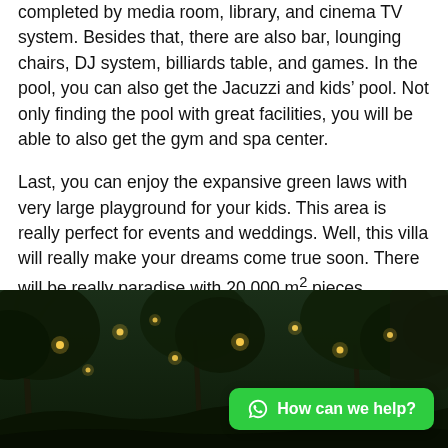completed by media room, library, and cinema TV system. Besides that, there are also bar, lounging chairs, DJ system, billiards table, and games. In the pool, you can also get the Jacuzzi and kids' pool. Not only finding the pool with great facilities, you will be able to also get the gym and spa center.
Last, you can enjoy the expansive green laws with very large playground for your kids. This area is really perfect for events and weddings. Well, this villa will really make your dreams come true soon. There will be really paradise with 20.000 m² pieces.
[Figure (photo): Night photo of tropical trees (palms) with string lights/fairy lights glowing among the foliage, dark green and black tones.]
How can we help?